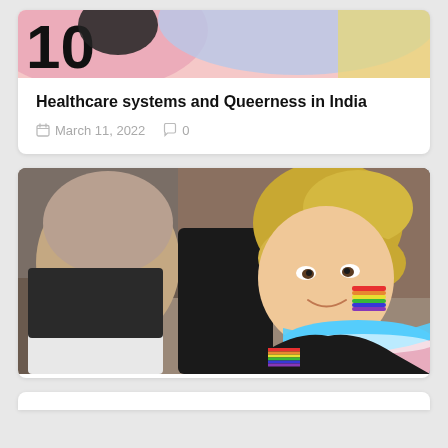[Figure (photo): Top portion of a card showing a colorful abstract/pride-themed graphic with pink, purple, blue and yellow colors, partially cropped at top]
Healthcare systems and Queerness in India
March 11, 2022   0
[Figure (photo): Photograph of a young person with blonde hair, rainbow flag face paint on cheek, wearing a black jacket with a rainbow flag patch, and a transgender pride flag (blue/pink/white) draped around their neck as a scarf. An older person's back is visible in the foreground left. Outdoor setting.]